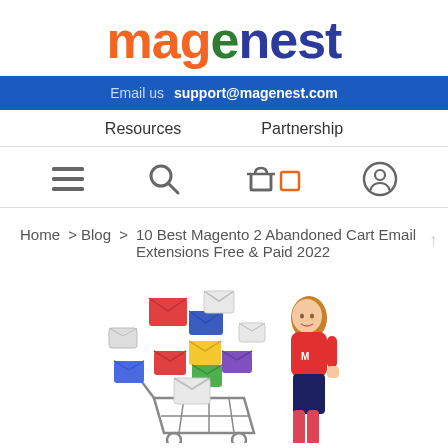[Figure (logo): Magenest logo with orange 'mag', green 'e', and dark blue 'nest' text]
Email us  support@magenest.com
Resources   Partnership
[Figure (illustration): Navigation icons: hamburger menu, search magnifier, shopping bag, cart/square, user profile circle]
Home > Blog > 10 Best Magento 2 Abandoned Cart Email Extensions Free & Paid 2022
[Figure (illustration): Illustration of a woman in a red Magento shirt next to a shopping cart with colorful email envelopes flying out]